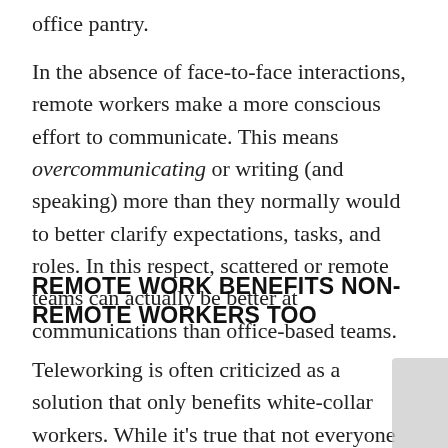office pantry.
In the absence of face-to-face interactions, remote workers make a more conscious effort to communicate. This means overcommunicating or writing (and speaking) more than they normally would to better clarify expectations, tasks, and roles. In this respect, scattered or remote teams can actually be better at communications than office-based teams.
REMOTE WORK BENEFITS NON-REMOTE WORKERS TOO
Teleworking is often criticized as a solution that only benefits white-collar workers. While it's true that not everyone has the privilege to take their work home, telework also impacts those who are unable to work remotely.